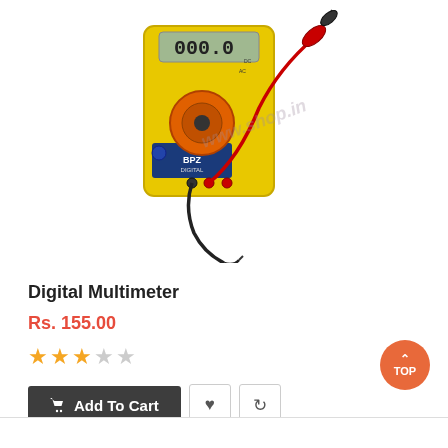[Figure (photo): A yellow digital multimeter with orange rotary dial, LCD display showing '000.0', and red and black test probe leads. Watermark text 'www.shop.in' overlaid on the image.]
Digital Multimeter
Rs. 155.00
[Figure (infographic): Star rating: 3 out of 5 stars filled in orange, 2 empty grey stars.]
Add To Cart